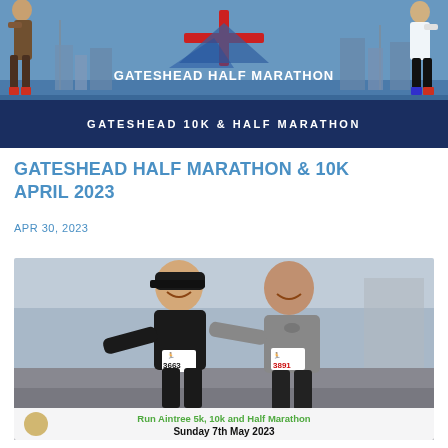[Figure (photo): Gateshead Half Marathon event banner showing runners and a logo with an airplane cross symbol, dark blue background, text 'GATESHEAD HALF MARATHON' and 'GATESHEAD 10K & HALF MARATHON']
GATESHEAD HALF MARATHON & 10K APRIL 2023
APR 30, 2023
[Figure (photo): Two smiling runners posing together after a race, wearing race bibs numbered 3663 and 3891. Bottom banner reads 'Run Aintree 5k, 10k and Half Marathon / Sunday 7th May 2023']